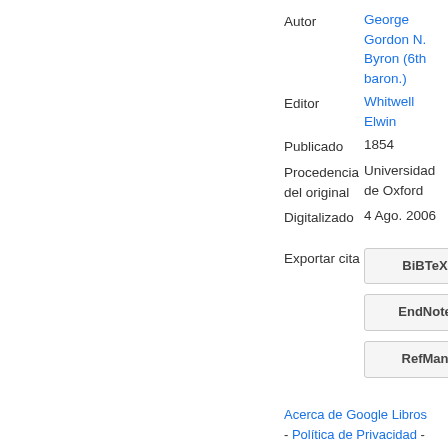| Campo | Valor |
| --- | --- |
| Autor | George Gordon N. Byron (6th baron.) |
| Editor | Whitwell Elwin |
| Publicado | 1854 |
| Procedencia del original | Universidad de Oxford |
| Digitalizado | 4 Ago. 2006 |
Exportar cita
BiBTeX
EndNote
RefMan
Acerca de Google Libros
- Política de Privacidad -